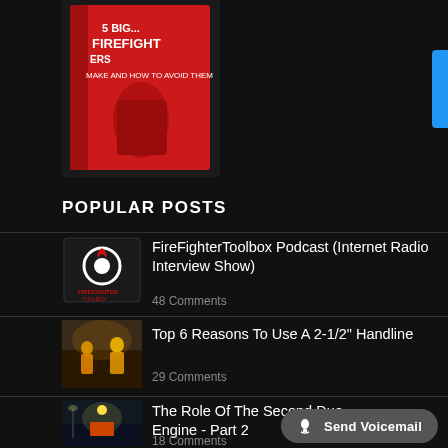[Figure (photo): Red book cover showing title about firefighters and mistakes, partially visible at top of page]
POPULAR POSTS
[Figure (logo): FireFighterToolbox logo - black background with white gear/flame icon and text]
FireFighterToolbox Podcast (Internet Radio Interview Show)
48 Comments
[Figure (photo): Firefighters in yellow gear at a fire scene]
Top 6 Reasons To Use A 2-1/2" Handline
29 Comments
[Figure (photo): Night scene of fire engine at incident]
The Role Of The Second Due Engine - Part 2
18 Comments
Send Voicemail